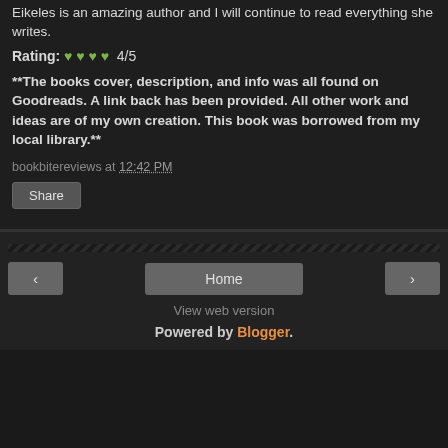Eikeles is an amazing author and I will continue to read everything she writes.
Rating: ♥ ♥ ♥ ♥  4/5
**The books cover, description, and info was all found on Goodreads. A link back has been provided. All other work and ideas are of my own creation. This book was borrowed from my local library.**
bookbitereviews at 12:42 PM
Share
‹  Home  ›  View web version  Powered by Blogger.